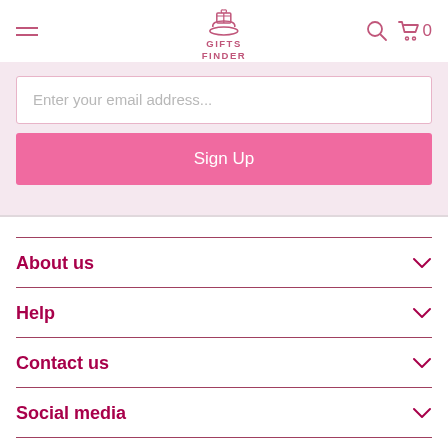GIFTS FINDER - navigation header with hamburger menu, logo, search and cart icons
Enter your email address...
Sign Up
About us
Help
Contact us
Social media